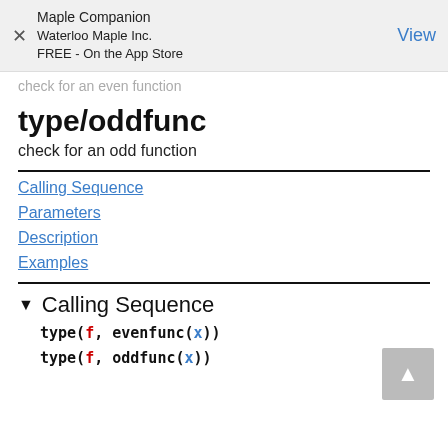Maple Companion
Waterloo Maple Inc.
FREE - On the App Store
View
check for an even function
type/oddfunc
check for an odd function
Calling Sequence
Parameters
Description
Examples
Calling Sequence
type(f, evenfunc(x))
type(f, oddfunc(x))